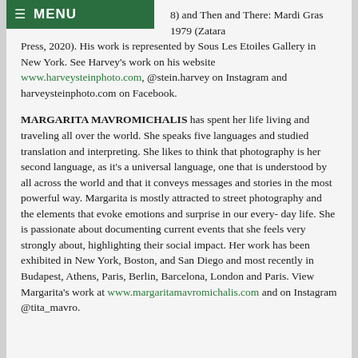MENU
8) and Then and There: Mardi Gras 1979 (Zatara Press, 2020). His work is represented by Sous Les Etoiles Gallery in New York. See Harvey's work on his website www.harveysteinphoto.com, @stein.harvey on Instagram and harveysteinphoto.com on Facebook.
MARGARITA MAVROMICHALIS has spent her life living and traveling all over the world. She speaks five languages and studied translation and interpreting. She likes to think that photography is her second language, as it's a universal language, one that is understood by all across the world and that it conveys messages and stories in the most powerful way. Margarita is mostly attracted to street photography and the elements that evoke emotions and surprise in our every-day life. She is passionate about documenting current events that she feels very strongly about, highlighting their social impact. Her work has been exhibited in New York, Boston, and San Diego and most recently in Budapest, Athens, Paris, Berlin, Barcelona, London and Paris. View Margarita's work at www.margaritamavromichalis.com and on Instagram @tita_mavro.